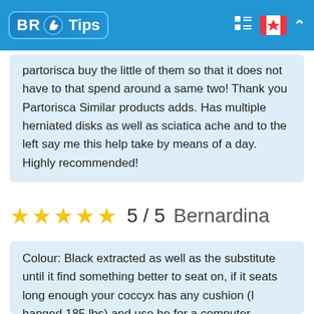BR Tips
partorisca buy the little of them so that it does not have to that spend around a same two! Thank you Partorisca Similar products adds. Has multiple herniated disks as well as sciatica ache and to the left say me this help take by means of a day. Highly recommended!
★★★★★ 5 / 5  Bernardina
Colour: Black extracted as well as the substitute until it find something better to seat on, if it seats long enough your coccyx has any cushion (I hanged 185 lbs) and use he for a computer